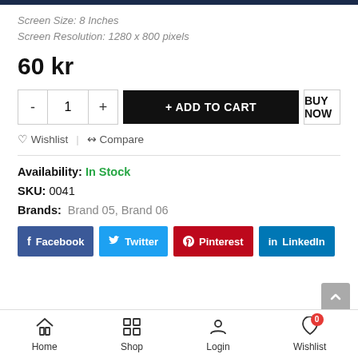Screen Size: 8 Inches
Screen Resolution: 1280 x 800 pixels
60 kr
+ ADD TO CART
BUY NOW
♡ Wishlist  |  ⇄ Compare
Availability: In Stock
SKU: 0041
Brands:  Brand 05, Brand 06
Facebook  Twitter  Pinterest  LinkedIn
Home  Shop  Login  Wishlist